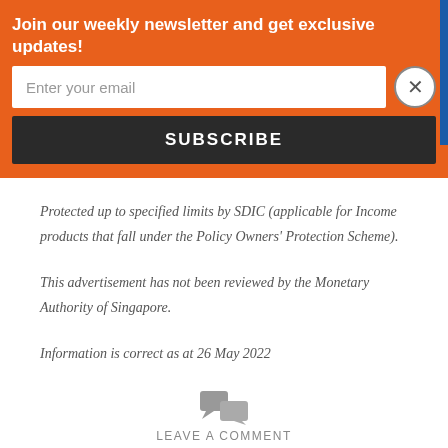Join our weekly newsletter and get exclusive updates!
Enter your email
SUBSCRIBE
Protected up to specified limits by SDIC (applicable for Income products that fall under the Policy Owners' Protection Scheme).
This advertisement has not been reviewed by the Monetary Authority of Singapore.
Information is correct as at 26 May 2022
LEAVE A COMMENT